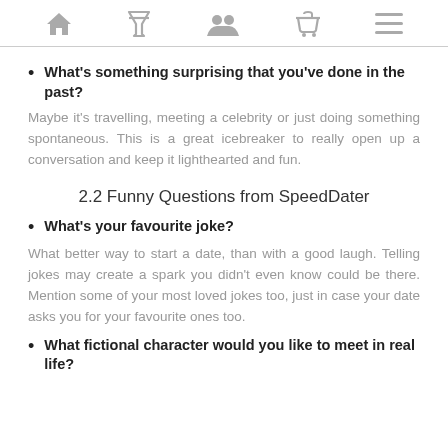[navigation icons: home, cocktail, people, basket, menu]
What's something surprising that you've done in the past?
Maybe it's travelling, meeting a celebrity or just doing something spontaneous. This is a great icebreaker to really open up a conversation and keep it lighthearted and fun.
2.2 Funny Questions from SpeedDater
What's your favourite joke?
What better way to start a date, than with a good laugh. Telling jokes may create a spark you didn't even know could be there. Mention some of your most loved jokes too, just in case your date asks you for your favourite ones too.
What fictional character would you like to meet in real life?